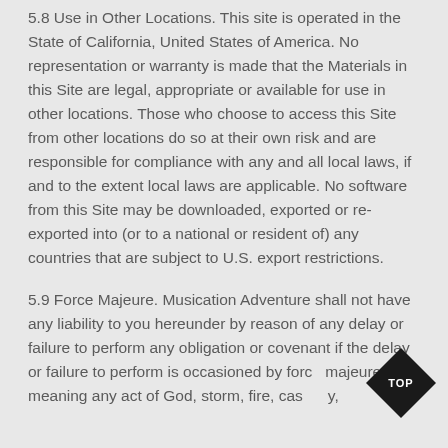5.8 Use in Other Locations. This site is operated in the State of California, United States of America. No representation or warranty is made that the Materials in this Site are legal, appropriate or available for use in other locations. Those who choose to access this Site from other locations do so at their own risk and are responsible for compliance with any and all local laws, if and to the extent local laws are applicable. No software from this Site may be downloaded, exported or re-exported into (or to a national or resident of) any countries that are subject to U.S. export restrictions.
5.9 Force Majeure. Musication Adventure shall not have any liability to you hereunder by reason of any delay or failure to perform any obligation or covenant if the delay or failure to perform is occasioned by force majeure, meaning any act of God, storm, fire, casualty,
[Figure (other): Black diamond-shaped badge with white text reading 'TOP']